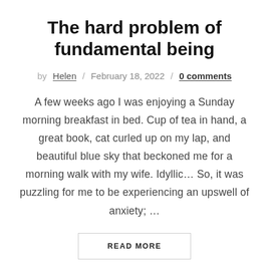The hard problem of fundamental being
by Helen / February 18, 2022 / 0 comments
A few weeks ago I was enjoying a Sunday morning breakfast in bed. Cup of tea in hand, a great book, cat curled up on my lap, and beautiful blue sky that beckoned me for a morning walk with my wife. Idyllic… So, it was puzzling for me to be experiencing an upswell of anxiety; …
READ MORE